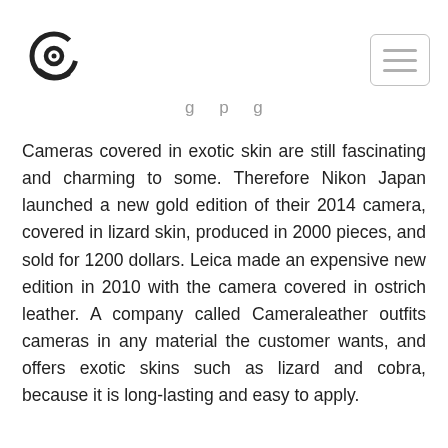Logo and menu navigation header
g p g
Cameras covered in exotic skin are still fascinating and charming to some. Therefore Nikon Japan launched a new gold edition of their 2014 camera, covered in lizard skin, produced in 2000 pieces, and sold for 1200 dollars. Leica made an expensive new edition in 2010 with the camera covered in ostrich leather. A company called Cameraleather outfits cameras in any material the customer wants, and offers exotic skins such as lizard and cobra, because it is long-lasting and easy to apply.